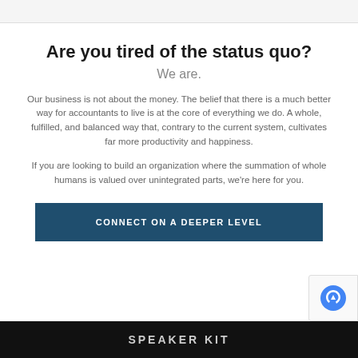Are you tired of the status quo?
We are.
Our business is not about the money. The belief that there is a much better way for accountants to live is at the core of everything we do. A whole, fulfilled, and balanced way that, contrary to the current system, cultivates far more productivity and happiness.
If you are looking to build an organization where the summation of whole humans is valued over unintegrated parts, we're here for you.
CONNECT ON A DEEPER LEVEL
SPEAKER KIT